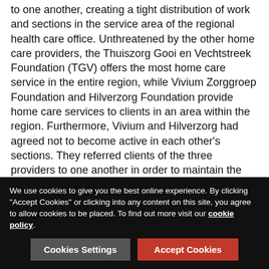to one another, creating a tight distribution of work and sections in the service area of the regional health care office. Unthreatened by the other home care providers, the Thuiszorg Gooi en Vechtstreek Foundation (TGV) offers the most home care service in the entire region, while Vivium Zorggroep Foundation and Hilverzorg Foundation provide home care services to clients in an area within the region. Furthermore, Vivium and Hilverzorg had agreed not to become active in each other's sections. They referred clients of the three providers to one another in order to maintain the distribution of work and sections.
TGV, Vivium and Hilverzorg are fined 1,621,000, 816,000 and 611,000 Euros respectively.
The cartels in the regions of Kennemerland and 't Gooi resulted in clients having their freedom of choice restricted, whereas the AWBZ and the Social Support Act (WMO) were
We use cookies to give you the best online experience. By clicking "Accept Cookies" or clicking into any content on this site, you agree to allow cookies to be placed. To find out more visit our cookie policy.